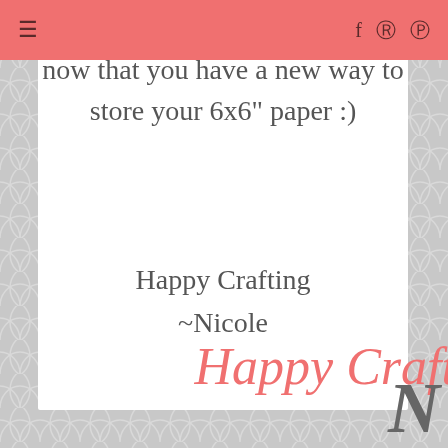navigation bar with hamburger menu, facebook, pinterest, instagram icons
now that you have a new way to store your 6x6" paper :)
Happy Crafting
~Nicole
[Figure (logo): Happy Crafting cursive script logo in coral/salmon color at bottom right, partially cropped]